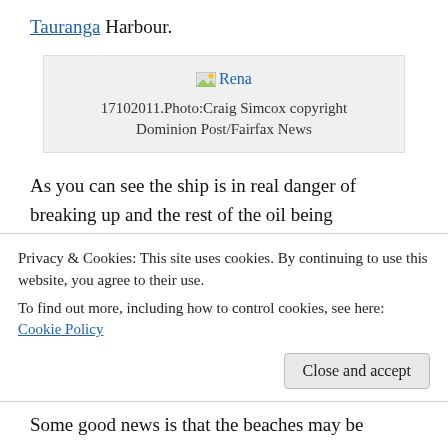Tauranga Harbour.
[Figure (photo): Image placeholder with link labeled 'Rena' and caption: 17102011.Photo:Craig Simcox copyright Dominion Post/Fairfax News]
17102011.Photo:Craig Simcox copyright Dominion Post/Fairfax News
As you can see the ship is in real danger of breaking up and the rest of the oil being discharged into the sea. It is reported today that “Last night nine men aboard the wreck were frantically working to remove thousands of tonnes of oil from the ship before it breaks apart.
Privacy & Cookies: This site uses cookies. By continuing to use this website, you agree to their use.
To find out more, including how to control cookies, see here: Cookie Policy
Some good news is that the beaches may be